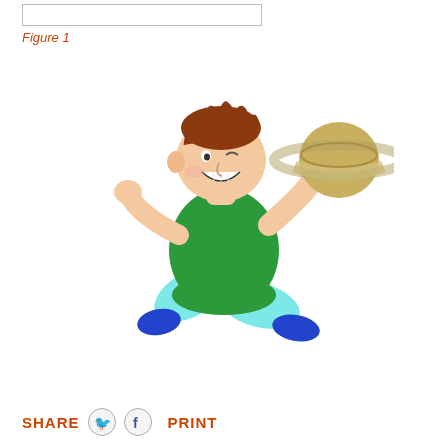Figure 1
[Figure (illustration): Cartoon illustration of a boy with brown spiky hair, wearing a green shirt and light blue pants with blue shoes, running and holding a planet Saturn with rings.]
SHARE  PRINT